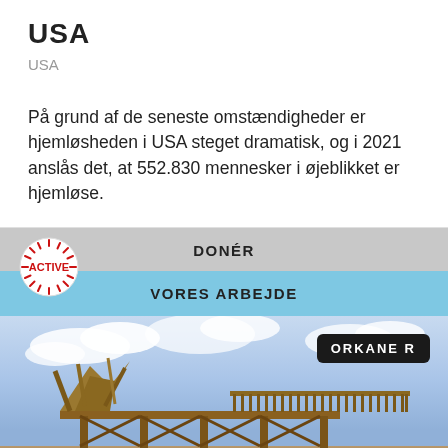USA
USA
På grund af de seneste omstændigheder er hjemløsheden i USA steget dramatisk, og i 2021 anslås det, at 552.830 mennesker i øjeblikket er hjemløse.
[Figure (logo): ACTIVE logo — circular badge with sun rays and text ACTIVE in red]
DONÉR
VORES ARBEJDE
[Figure (photo): Hurricane-damaged building with destroyed roof structure against cloudy sky, with ORKANER badge overlay]